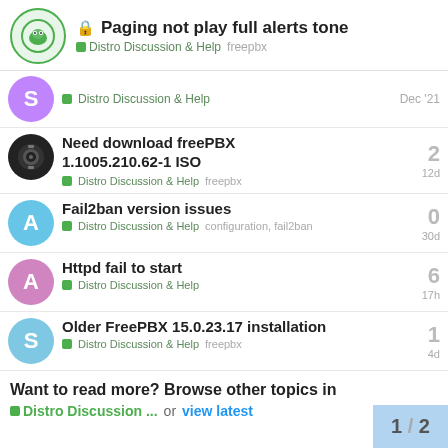🔒 Paging not play full alerts tone — Distro Discussion & Help  freepbx
Distro Discussion & Help — Dec '21
Need download freePBX 1.1005.210.62-1 ISO — Distro Discussion & Help  freepbx — 12d — replies: 2
Fail2ban version issues — Distro Discussion & Help  configuration, fail2ban — 30d — replies: 0
Httpd fail to start — Distro Discussion & Help — 17h — replies: 6
Older FreePBX 15.0.23.17 installation — Distro Discussion & Help  freepbx — 4d — replies: 1
Want to read more? Browse other topics in Distro Discussion ... or view latest
1 / 2